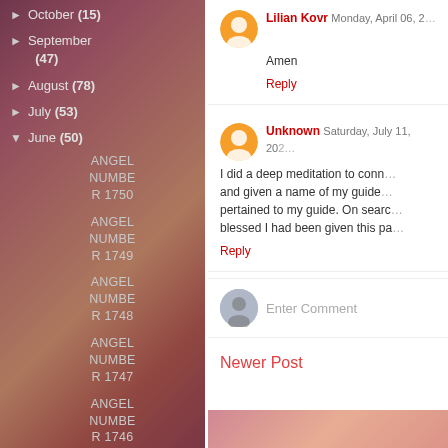► October (15)
► September (47)
► August (78)
► July (53)
▼ June (50)
ANGEL NUMBER 1750
ANGEL NUMBER 1749
ANGEL NUMBER 1748
ANGEL NUMBER 1747
ANGEL NUMBER 1746
ANGEL NUMBER
Lilian Kovr  Monday, April 06, 2...
Amen
Reply
Unknown  Saturday, July 11, 202...
I did a deep meditation to conn... and given a name of my guide... pertained to my guide. On sear... blessed I had been given this pa...
Reply
Enter Comment
Newer Post